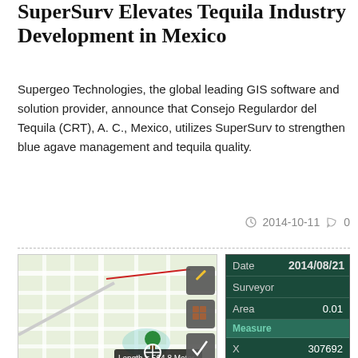SuperSurv Elevates Tequila Industry Development in Mexico
Supergeo Technologies, the global leading GIS software and solution provider, announce that Consejo Regulardor del Tequila (CRT), A. C., Mexico, utilizes SuperSurv to strengthen blue agave management and tequila quality.
2014-10-11  0
[Figure (screenshot): Screenshot of SuperSurv GIS map interface showing a street map with a measurement overlay reading 'Length = 564.8 Meter' and several toolbar icons on the right side.]
[Figure (screenshot): Screenshot of SuperSurv data entry form showing fields: Date 2014/08/21, Surveyor (blank), Area 0.01, Measure section with X: 307692, Y: 2774724, and a Measure button.]